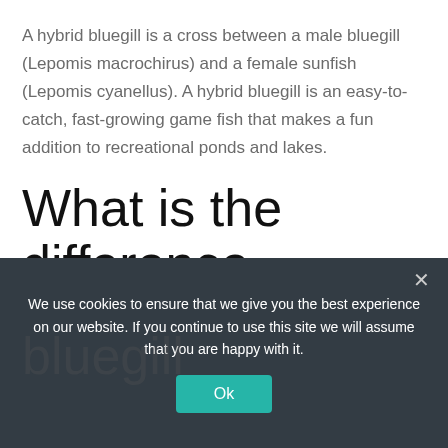A hybrid bluegill is a cross between a male bluegill (Lepomis macrochirus) and a female sunfish (Lepomis cyanellus). A hybrid bluegill is an easy-to-catch, fast-growing game fish that makes a fun addition to recreational ponds and lakes.
What is the difference between bluegill
We use cookies to ensure that we give you the best experience on our website. If you continue to use this site we will assume that you are happy with it.
Ok